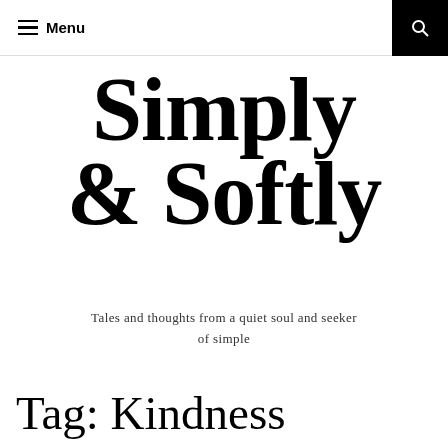Menu
Simply & Softly
Tales and thoughts from a quiet soul and seeker of simple
Tag: Kindness